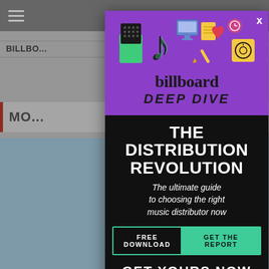BILLBOARD   FEATURE   SUBSCRIBE
[Figure (screenshot): Billboard Deep Dive modal advertisement overlay on a website. Purple top section with TikTok-themed illustration icons, Billboard logo, DEEP DIVE text. Black bottom section with THE DISTRIBUTION REVOLUTION title, subtitle 'The ultimate guide to choosing the right music distributor now', FREE DOWNLOAD / GET THE REPORT button row, and GET YOURS NOW text at bottom.]